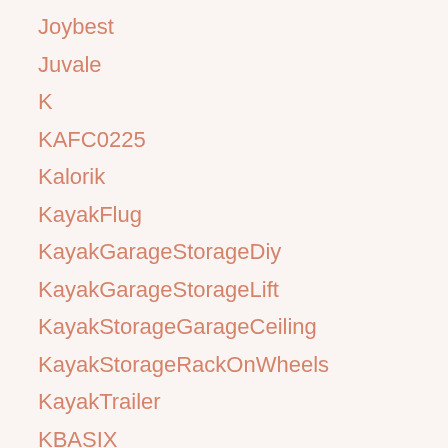Joybest
Juvale
K
KAFC0225
Kalorik
KayakFlug
KayakGarageStorageDiy
KayakGarageStorageLift
KayakStorageGarageCeiling
KayakStorageRackOnWheels
KayakTrailer
KBASIX
Kedudes
KeyRackForWallUk
KID